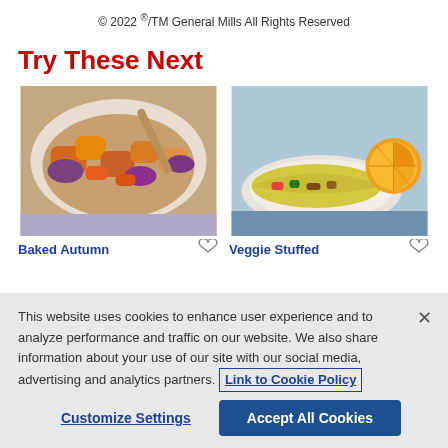© 2022 ®/TM General Mills All Rights Reserved
Try These Next
[Figure (photo): Bowl of baked autumn root vegetables including carrots, sweet potatoes, and red onions]
[Figure (photo): Veggie stuffed omelette on a plate with orange slices]
Baked Autumn
Veggie Stuffed
This website uses cookies to enhance user experience and to analyze performance and traffic on our website. We also share information about your use of our site with our social media, advertising and analytics partners. Link to Cookie Policy
Customize Settings
Accept All Cookies